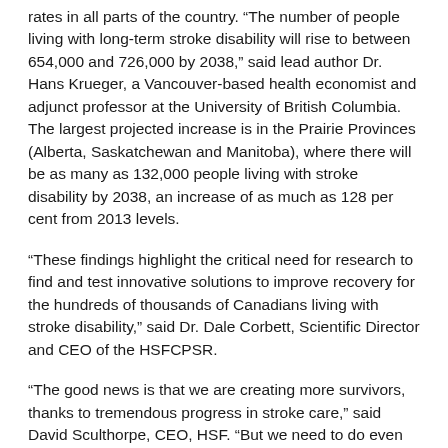rates in all parts of the country. "The number of people living with long-term stroke disability will rise to between 654,000 and 726,000 by 2038," said lead author Dr. Hans Krueger, a Vancouver-based health economist and adjunct professor at the University of British Columbia. The largest projected increase is in the Prairie Provinces (Alberta, Saskatchewan and Manitoba), where there will be as many as 132,000 people living with stroke disability by 2038, an increase of as much as 128 per cent from 2013 levels.
"These findings highlight the critical need for research to find and test innovative solutions to improve recovery for the hundreds of thousands of Canadians living with stroke disability," said Dr. Dale Corbett, Scientific Director and CEO of the HSFCPSR.
"The good news is that we are creating more survivors, thanks to tremendous progress in stroke care," said David Sculthorpe, CEO, HSF. "But we need to do even more to keep up with the growing threat of stroke including raising awareness of the signs of stroke and improving prevention and care."